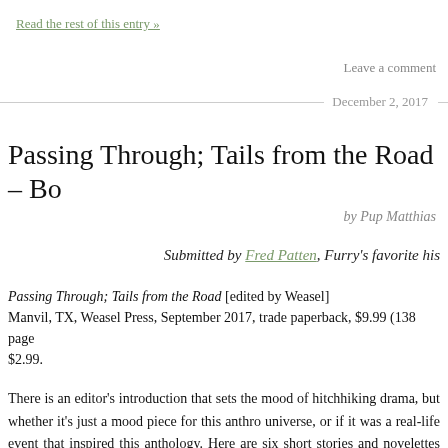Read the rest of this entry »
Leave a comment
December 2, 2017
Passing Through; Tails from the Road – Bo
by Pup Matthias
Submitted by Fred Patten, Furry's favorite his
Passing Through; Tails from the Road [edited by Weasel]
Manvil, TX, Weasel Press, September 2017, trade paperback, $9.99 (138 page
$2.99.
There is an editor's introduction that sets the mood of hitchhiking drama, but whether it's just a mood piece for this anthro universe, or if it was a real-life event that inspired this anthology. Here are six short stories and novelettes ab